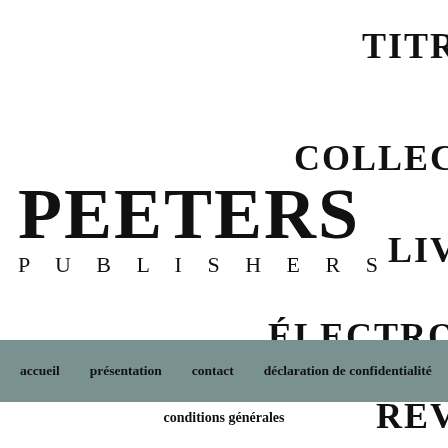[Figure (logo): Peeters Publishers logo with large bold PEETERS text and spaced PUBLISHERS subtitle]
TITR
COLLEC
LIV
ÉLECTRO
REV
accueil   présentation   contact   déclaration de confidentialité
conditions générales